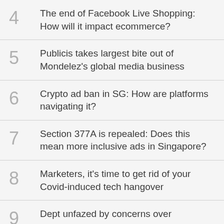4 The end of Facebook Live Shopping: How will it impact ecommerce?
5 Publicis takes largest bite out of Mondelez's global media business
6 Crypto ad ban in SG: How are platforms navigating it?
7 Section 377A is repealed: Does this mean more inclusive ads in Singapore?
8 Marketers, it's time to get rid of your Covid-induced tech hangover
9 Dept unfazed by concerns over